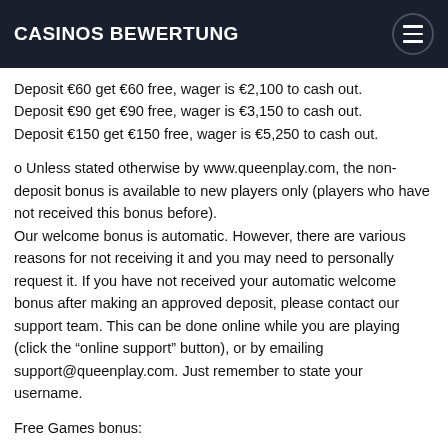CASINOS BEWERTUNG
Deposit €60 get €60 free, wager is €2,100 to cash out. Deposit €90 get €90 free, wager is €3,150 to cash out. Deposit €150 get €150 free, wager is €5,250 to cash out.
o Unless stated otherwise by www.queenplay.com, the non-deposit bonus is available to new players only (players who have not received this bonus before). Our welcome bonus is automatic. However, there are various reasons for not receiving it and you may need to personally request it. If you have not received your automatic welcome bonus after making an approved deposit, please contact our support team. This can be done online while you are playing (click the “online support” button), or by emailing support@queenplay.com. Just remember to state your username.
Free Games bonus: